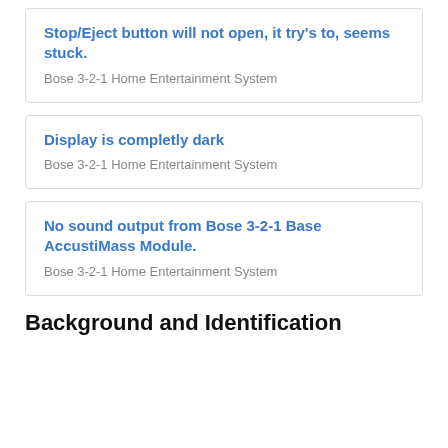Stop/Eject button will not open, it try's to, seems stuck.
Bose 3-2-1 Home Entertainment System
Display is completly dark
Bose 3-2-1 Home Entertainment System
No sound output from Bose 3-2-1 Base AccustiMass Module.
Bose 3-2-1 Home Entertainment System
Background and Identification